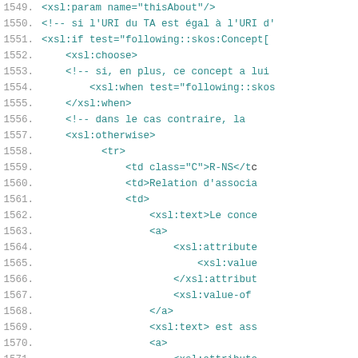[Figure (screenshot): Code editor screenshot showing XSLT source code, lines 1549–1574, with line numbers on the left in gray and code in teal/cyan monospace font on white background. The code includes XSL param, xsl:if, xsl:choose, xsl:when, xsl:otherwise, tr, td, xsl:text, a, xsl:attribute, xsl:value-of elements with French comments.]